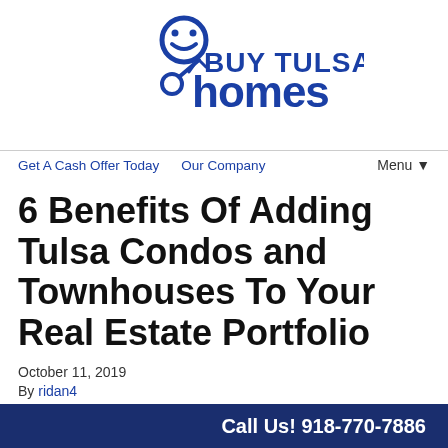[Figure (logo): Buy Tulsa Homes logo with smiley face and key icon, blue text]
Get A Cash Offer Today   Our Company   Menu ▼
6 Benefits Of Adding Tulsa Condos and Townhouses To Your Real Estate Portfolio
October 11, 2019
By ridan4
There are many great benefits to adding Tulsa condos and
Call Us! 918-770-7886